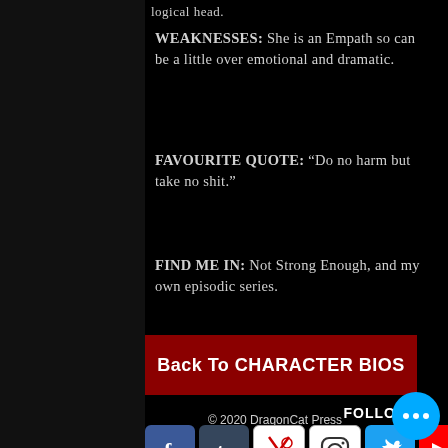logical head.
WEAKNESSES: She is an Empath so can be a little over emotional and dramatic.
FAVOURITE QUOTE: “Do no harm but take no shit.”
FIND ME IN: Not Strong Enough, and my own episodic series.
Back To CHARACTER BIOS
FOLLOW ME
[Figure (other): Social media icons: Facebook, Tumblr, DeviantArt, Instagram, Twitter, YouTube]
© 2020 DragonCat Press